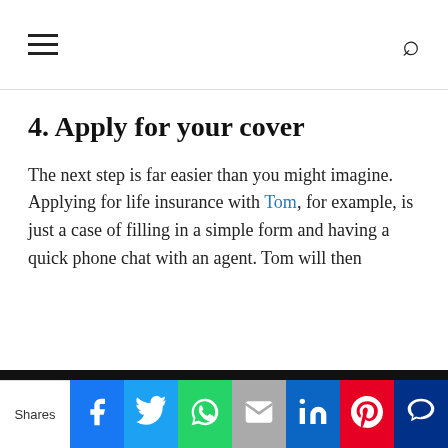Navigation bar with hamburger menu and search icon
4. Apply for your cover
The next step is far easier than you might imagine. Applying for life insurance with Tom, for example, is just a case of filling in a simple form and having a quick phone chat with an agent. Tom will then
This website uses cookies to ensure you get the best experience on our website. Learn more
Got it!
Shares | Facebook | Twitter | WhatsApp | Email | LinkedIn | Pinterest | MeWe